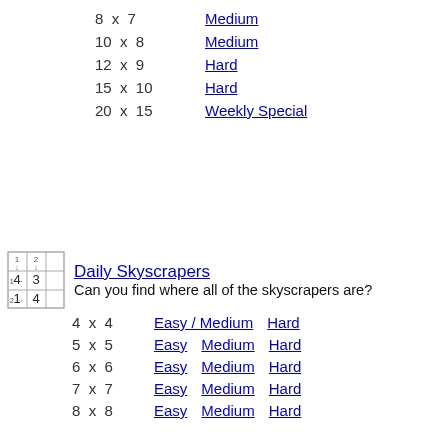8 x 7  Medium
10 x 8  Medium
12 x 9  Hard
15 x 10  Hard
20 x 15  Weekly Special
Daily Skyscrapers
Can you find where all of the skyscrapers are?
4 x 4  Easy / Medium  Hard
5 x 5  Easy  Medium  Hard
6 x 6  Easy  Medium  Hard
7 x 7  Easy  Medium  Hard
8 x 8  Easy  Medium  Hard